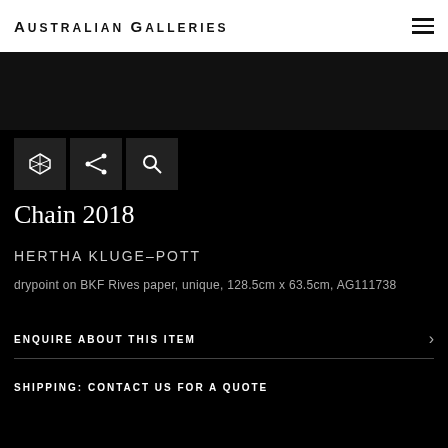Australian Galleries
[Figure (other): Dark banner strip at top of page below header]
[Figure (other): Three icon buttons: 3D/view icon, share icon, search icon]
Chain 2018
HERTHA KLUGE-POTT
drypoint on BKF Rives paper, unique, 128.5cm x 63.5cm, AG111738
ENQUIRE ABOUT THIS ITEM
SHIPPING: CONTACT US FOR A QUOTE